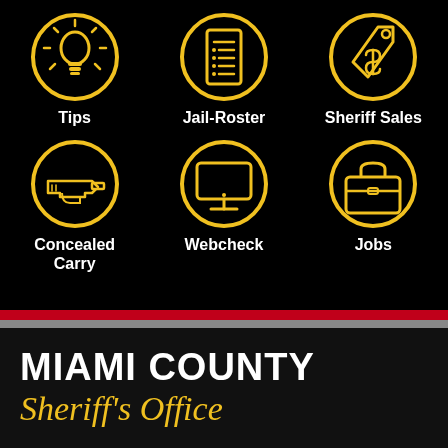[Figure (infographic): Six circular yellow-outlined icons on black background arranged in two rows of three: Tips (lightbulb), Jail-Roster (list/document), Sheriff Sales (price tag with dollar sign), Concealed Carry (handgun), Webcheck (monitor/computer), Jobs (briefcase)]
Tips
Jail-Roster
Sheriff Sales
Concealed Carry
Webcheck
Jobs
MIAMI COUNTY Sheriff's Office